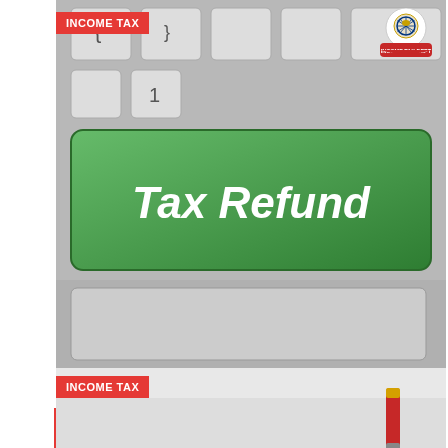[Figure (photo): Green 'Tax Refund' keyboard key on a grey keyboard background, with Income Tax Department logo in top-right corner and red INCOME TAX badge in top-left]
OCTOBER 11, 2021
0
2 Ways to Check Income Tax Refund Status in Minutes
2 Ways To Check Income Tax Refund Status In Minutes Photo credit: Thinkstock New Delhi:…
[Figure (photo): Partial image of a document with a red pen, with red INCOME TAX badge in top-left]